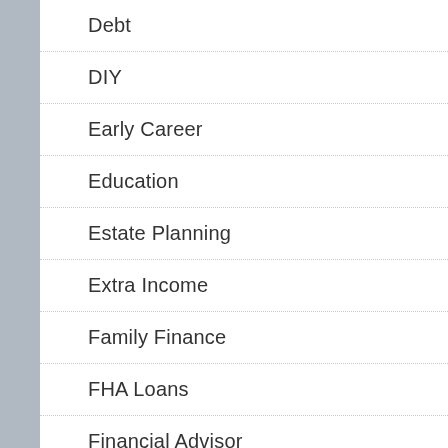Debt
DIY
Early Career
Education
Estate Planning
Extra Income
Family Finance
FHA Loans
Financial Advisor
Financial Freedom
Financial Planning
Financing A Home